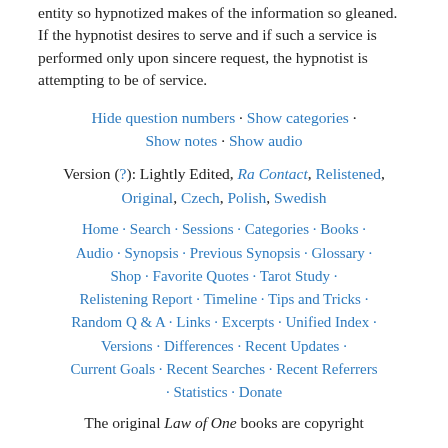entity so hypnotized makes of the information so gleaned. If the hypnotist desires to serve and if such a service is performed only upon sincere request, the hypnotist is attempting to be of service.
Hide question numbers · Show categories · Show notes · Show audio
Version (?): Lightly Edited, Ra Contact, Relistened, Original, Czech, Polish, Swedish
Home · Search · Sessions · Categories · Books · Audio · Synopsis · Previous Synopsis · Glossary · Shop · Favorite Quotes · Tarot Study · Relistening Report · Timeline · Tips and Tricks · Random Q & A · Links · Excerpts · Unified Index · Versions · Differences · Recent Updates · Current Goals · Recent Searches · Recent Referrers · Statistics · Donate
The original Law of One books are copyright